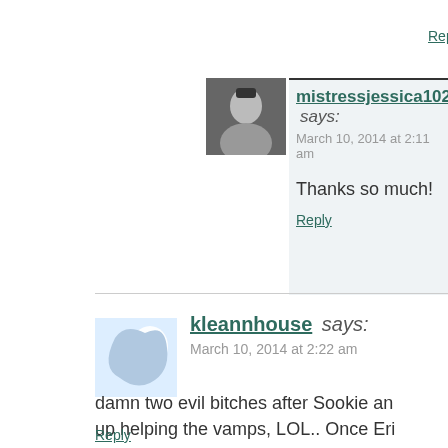Reply
mistressjessica1028 says:
March 10, 2014 at 2:11 am

Thanks so much!

Reply
kleannhouse says:
March 10, 2014 at 2:22 am

damn two evil bitches after Sookie an up helping the vamps, LOL.. Once Eri is toast... i am sure the blood is Sookie getting ... unitl the next post.. KY

Reply